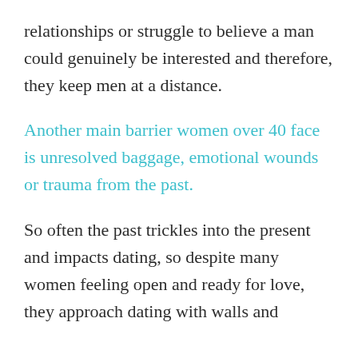relationships or struggle to believe a man could genuinely be interested and therefore, they keep men at a distance.
Another main barrier women over 40 face is unresolved baggage, emotional wounds or trauma from the past.
So often the past trickles into the present and impacts dating, so despite many women feeling open and ready for love, they approach dating with walls and